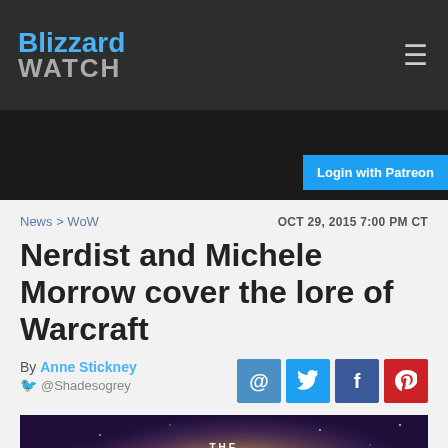Blizzard WATCH
Login with Patreon
News > WoW   OCT 29, 2015 7:00 PM CT
Nerdist and Michele Morrow cover the lore of Warcraft
By Anne Stickney @Shadesogrey
[Figure (illustration): THE QUEST FOR promotional artwork with fantasy characters and glowing background]